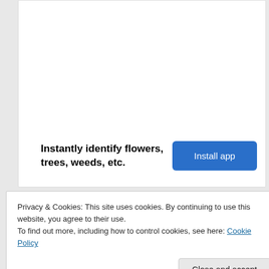[Figure (screenshot): White advertisement card with empty upper area]
Instantly identify flowers, trees, weeds, etc.
Install app
Privacy & Cookies: This site uses cookies. By continuing to use this website, you agree to their use.
To find out more, including how to control cookies, see here: Cookie Policy
Close and accept